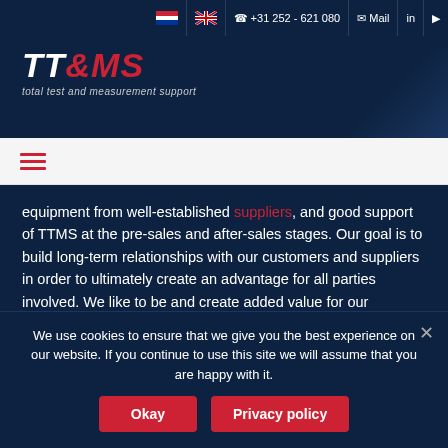+31 252 - 621 080 | Mail
[Figure (logo): TT&MS logo with text 'total test and measurement support' on dark navy background]
[Figure (other): Hamburger menu icon (three red horizontal lines)]
equipment from well-established suppliers, and good support of TTMS at the pre-sales and after-sales stages. Our goal is to build long-term relationships with our customers and suppliers in order to ultimately create an advantage for all parties involved. We like to be and create added value for our customers.
More about TTMS.
We use cookies to ensure that we give you the best experience on our website. If you continue to use this site we will assume that you are happy with it.